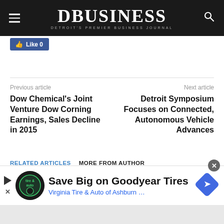DBusiness — Detroit's Premier Business Journal
Like 0
Previous article
Next article
Dow Chemical's Joint Venture Dow Corning Earnings, Sales Decline in 2015
Detroit Symposium Focuses on Connected, Autonomous Vehicle Advances
RELATED ARTICLES   MORE FROM AUTHOR
[Figure (screenshot): Advertisement banner: Save Big on Goodyear Tires — Virginia Tire & Auto of Ashburn …]